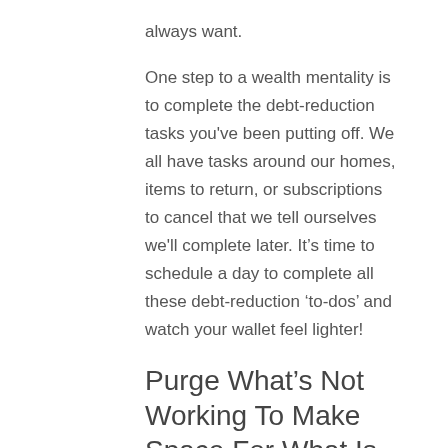always want.
One step to a wealth mentality is to complete the debt-reduction tasks you've been putting off. We all have tasks around our homes, items to return, or subscriptions to cancel that we tell ourselves we'll complete later. It’s time to schedule a day to complete all these debt-reduction ‘to-dos’ and watch your wallet feel lighter!
Purge What’s Not Working To Make Space For What Is.
Reducing clutter in your home,